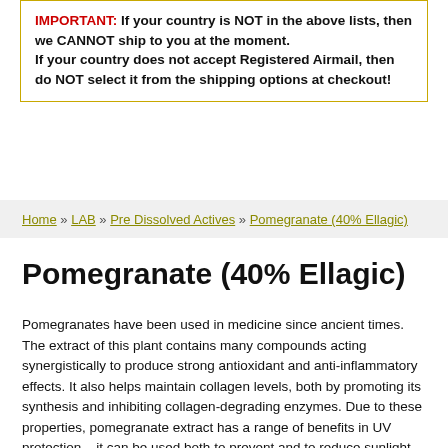IMPORTANT: If your country is NOT in the above lists, then we CANNOT ship to you at the moment. If your country does not accept Registered Airmail, then do NOT select it from the shipping options at checkout!
Home » LAB » Pre Dissolved Actives » Pomegranate (40% Ellagic)
Pomegranate (40% Ellagic)
Pomegranates have been used in medicine since ancient times. The extract of this plant contains many compounds acting synergistically to produce strong antioxidant and anti-inflammatory effects. It also helps maintain collagen levels, both by promoting its synthesis and inhibiting collagen-degrading enzymes. Due to these properties, pomegranate extract has a range of benefits in UV protection – it can be used both to prevent and to reduce sunlight damage (photoageing) after exposure. Furthermore, it is an effective skin whitening agent, used to treat melasma and other hyperpigmentation problems. Finally, faster wound healing is observed when using this extract. Combined with antibacterial, antifungal, anti-inflammatory properties and the ability to increase collagen synthesis, this makes pomegranate extract beneficial in cases of cuts of wound care